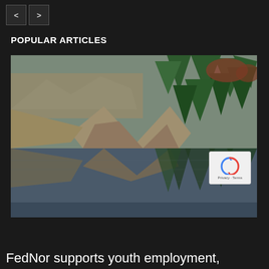< >
POPULAR ARTICLES
[Figure (photo): A scenic landscape photo showing a mountain lake with rocky cliffs and evergreen trees reflected in still water. Autumn foliage visible in the background.]
FedNor supports youth employment,